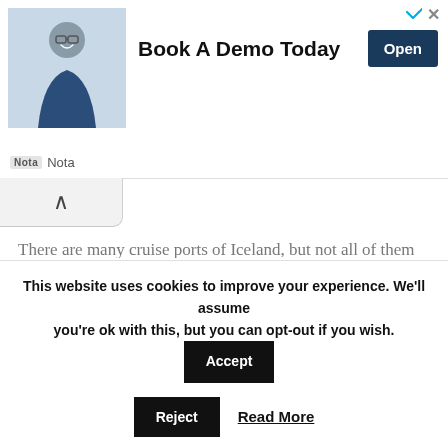[Figure (infographic): Advertisement banner: photo of smiling man in glasses, bold text 'Book A Demo Today', dark blue 'Open' button, Nota logo and sponsor label, arrow and X close icons in top right corner.]
There are many cruise ports of Iceland, but not all of them are able to take large cruise ships. I'll be writing about the ports we visited on our itinerary, which started in Bergen, Norway. These are Seydisfjordur, Akureyri, Isafjordur and Reykjavik.
I know most people are keen to know when the best time to
This website uses cookies to improve your experience. We'll assume you're ok with this, but you can opt-out if you wish.
Accept
Reject
Read More